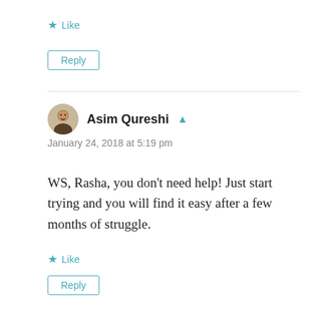Like
Reply
Asim Qureshi
January 24, 2018 at 5:19 pm
WS, Rasha, you don’t need help! Just start trying and you will find it easy after a few months of struggle.
Like
Reply